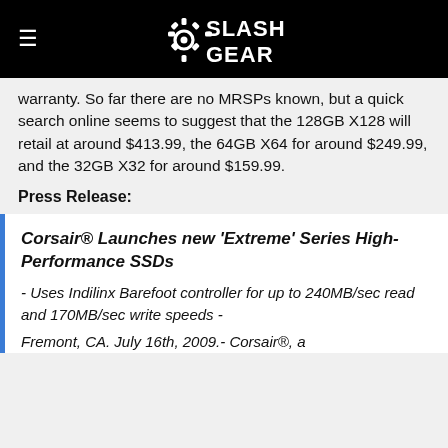SlashGear
warranty. So far there are no MRSPs known, but a quick search online seems to suggest that the 128GB X128 will retail at around $413.99, the 64GB X64 for around $249.99, and the 32GB X32 for around $159.99.
Press Release:
Corsair® Launches new 'Extreme' Series High-Performance SSDs
- Uses Indilinx Barefoot controller for up to 240MB/sec read and 170MB/sec write speeds -
Fremont, CA. July 16th, 2009.- Corsair®, a